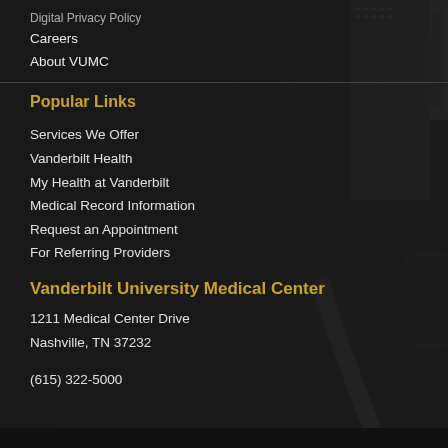Careers
About VUMC
Popular Links
Services We Offer
Vanderbilt Health
My Health at Vanderbilt
Medical Record Information
Request an Appointment
For Referring Providers
Vanderbilt University Medical Center
1211 Medical Center Drive
Nashville, TN 37232
(615) 322-5000